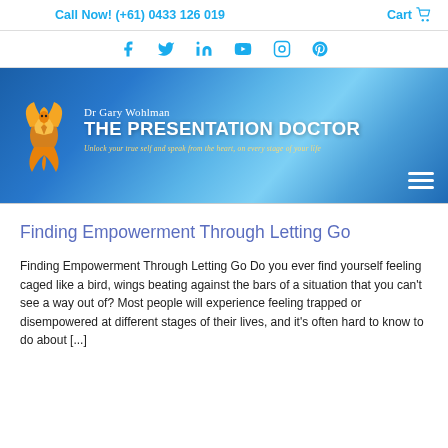Call Now! (+61) 0433 126 019   Cart
[Figure (infographic): Social media icons row: Facebook, Twitter, LinkedIn, YouTube, Instagram, Pinterest - in teal/cyan color]
[Figure (logo): Dr Gary Wohlman - The Presentation Doctor banner with phoenix logo on blue gradient background. Subtitle: Unlock your true self and speak from the heart, on every stage of your life]
Finding Empowerment Through Letting Go
Finding Empowerment Through Letting Go Do you ever find yourself feeling caged like a bird, wings beating against the bars of a situation that you can't see a way out of? Most people will experience feeling trapped or disempowered at different stages of their lives, and it's often hard to know to do about [...]